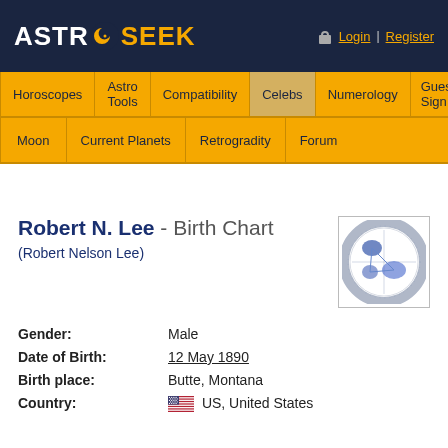ASTRO SEEK - Login | Register
Horoscopes | Astro Tools | Compatibility | Celebs | Numerology | Guess Sign
Moon | Current Planets | Retrogradity | Forum
Robert N. Lee - Birth Chart
(Robert Nelson Lee)
[Figure (other): Astrological birth chart wheel showing planetary positions, blue shapes on white background with circular zodiac ring]
Gender: Male
Date of Birth: 12 May 1890
Birth place: Butte, Montana
Country: US, United States